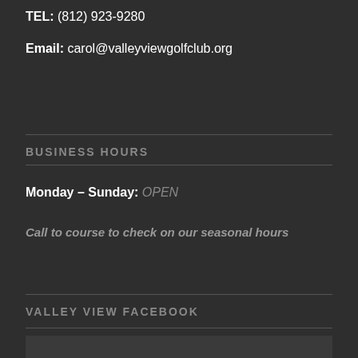TEL: (812) 923-9280
Email: carol@valleyviewgolfclub.org
BUSINESS HOURS
Monday – Sunday: OPEN
Call to course to check on our seasonal hours
VALLEY VIEW FACEBOOK